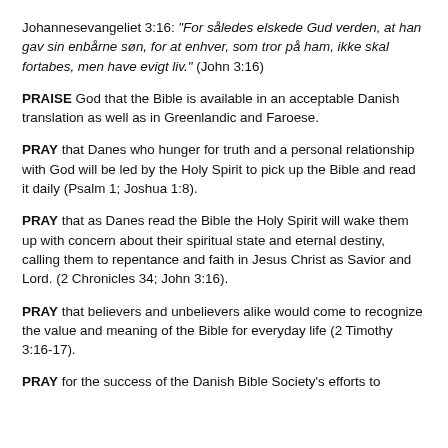Johannesevangeliet 3:16: "For således elskede Gud verden, at han gav sin enbårne søn, for at enhver, som tror på ham, ikke skal fortabes, men have evigt liv." (John 3:16)
PRAISE God that the Bible is available in an acceptable Danish translation as well as in Greenlandic and Faroese.
PRAY that Danes who hunger for truth and a personal relationship with God will be led by the Holy Spirit to pick up the Bible and read it daily (Psalm 1; Joshua 1:8).
PRAY that as Danes read the Bible the Holy Spirit will wake them up with concern about their spiritual state and eternal destiny, calling them to repentance and faith in Jesus Christ as Savior and Lord. (2 Chronicles 34; John 3:16).
PRAY that believers and unbelievers alike would come to recognize the value and meaning of the Bible for everyday life (2 Timothy 3:16-17).
PRAY for the success of the Danish Bible Society's efforts to